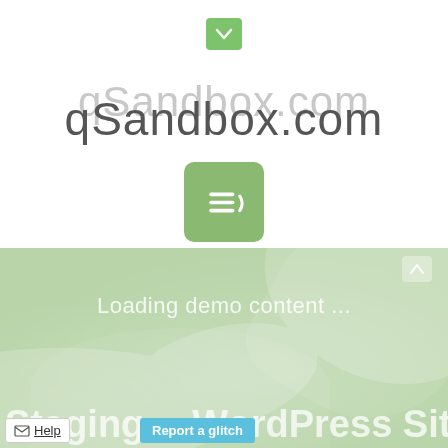[Figure (screenshot): A small green rounded square button with a downward chevron/arrow icon, acting as a dropdown toggle button.]
qSandbox.com
[Figure (logo): A green rounded square icon containing three horizontal white menu lines with a partial circle arc on the right side, representing a loading/menu spinner icon.]
Loading...
[Figure (screenshot): Green-tinted background section with decorative leaf/plant silhouettes, containing loading text and a staging label.]
Loading demo content ...
Staging (?) WordPress Sites
[Figure (other): Help button with envelope icon in bottom left corner.]
[Figure (other): Report a glitch button in light blue at bottom center.]